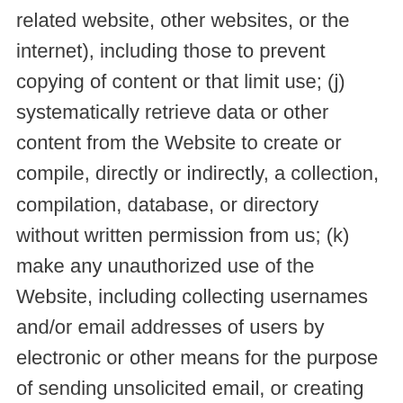related website, other websites, or the internet), including those to prevent copying of content or that limit use; (j) systematically retrieve data or other content from the Website to create or compile, directly or indirectly, a collection, compilation, database, or directory without written permission from us; (k) make any unauthorized use of the Website, including collecting usernames and/or email addresses of users by electronic or other means for the purpose of sending unsolicited email, or creating user accounts by automated means or under false pretenses; (l) use the Website to offer to sell goods and services; (m) engage in unauthorized framing of or linking to the Website; (n) engage in ay automated use of the system, such as using scripts to send